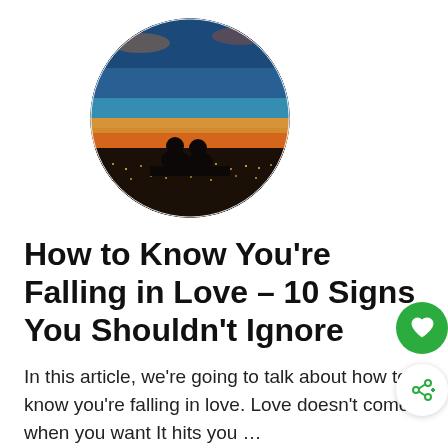[Figure (photo): Circular cropped photo of two silhouetted people sitting together watching a sunset over a city skyline, warm orange and blue sky tones.]
How to Know You're Falling in Love – 10 Signs You Shouldn't Ignore
In this article, we're going to talk about how to know you're falling in love. Love doesn't come when you want It hits you …
Read More